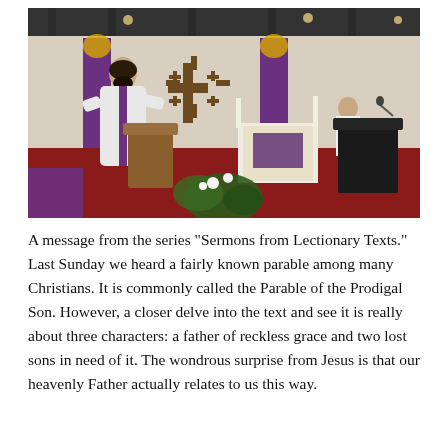[Figure (photo): A priest in white vestments with a purple stole stands at a wooden lectern in a church sanctuary, gesturing while speaking. Behind him is a Jerusalem cross symbol on the wall, flanked by purple and gold decorative banners. Candles and an altar with purple cloth are visible. Another person sits at a pulpit on the right side. The floor has red carpet.]
A message from the series "Sermons from Lectionary Texts." Last Sunday we heard a fairly known parable among many Christians. It is commonly called the Parable of the Prodigal Son. However, a closer delve into the text and see it is really about three characters: a father of reckless grace and two lost sons in need of it. The wondrous surprise from Jesus is that our heavenly Father actually relates to us this way.